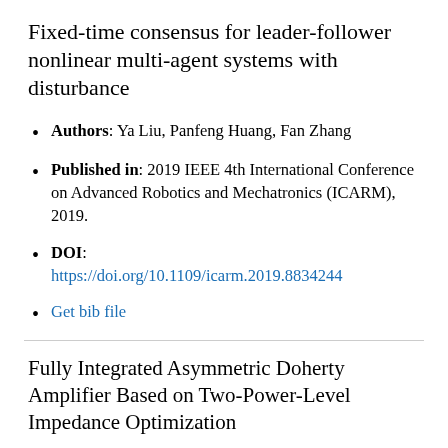Fixed-time consensus for leader-follower nonlinear multi-agent systems with disturbance
Authors: Ya Liu, Panfeng Huang, Fan Zhang
Published in: 2019 IEEE 4th International Conference on Advanced Robotics and Mechatronics (ICARM), 2019.
DOI: https://doi.org/10.1109/icarm.2019.8834244
Get bib file
Fully Integrated Asymmetric Doherty Amplifier Based on Two-Power-Level Impedance Optimization